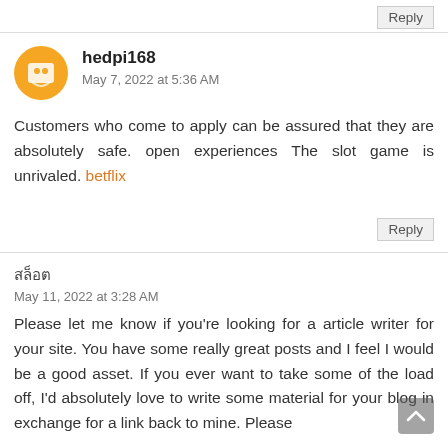Reply
hedpi168
May 7, 2022 at 5:36 AM
Customers who come to apply can be assured that they are absolutely safe. open experiences The slot game is unrivaled. betflix
Reply
สล็อต
May 11, 2022 at 3:28 AM
Please let me know if you're looking for a article writer for your site. You have some really great posts and I feel I would be a good asset. If you ever want to take some of the load off, I'd absolutely love to write some material for your blog in exchange for a link back to mine. Please